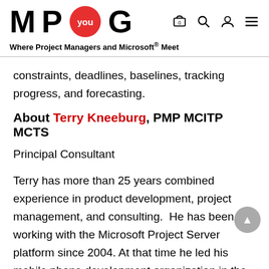M P you G — Where Project Managers and Microsoft® Meet
constraints, deadlines, baselines, tracking progress, and forecasting.
About Terry Kneeburg, PMP MCITP MCTS
Principal Consultant
Terry has more than 25 years combined experience in product development, project management, and consulting.  He has been working with the Microsoft Project Server platform since 2004. At that time he led his mobile phone development organization in the deployment of EPM.  Terry is passionate about helping clients achieve success in managing their project portfolios, delivering to companies in a variety of industries including Healthcare